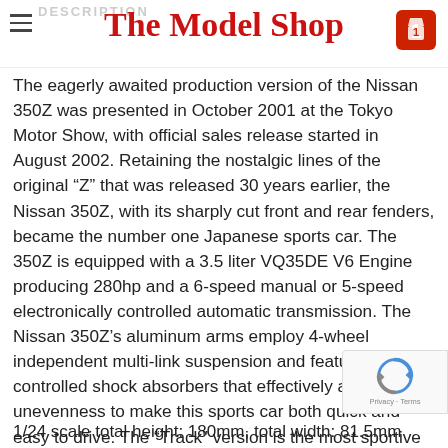The Model Shop
The eagerly awaited production version of the Nissan 350Z was presented in October 2001 at the Tokyo Motor Show, with official sales release started in August 2002. Retaining the nostalgic lines of the original “Z” that was released 30 years earlier, the Nissan 350Z, with its sharply cut front and rear fenders, became the number one Japanese sports car. The 350Z is equipped with a 3.5 liter VQ35DE V6 Engine producing 280hp and a 6-speed manual or 5-speed electronically controlled automatic transmission. The Nissan 350Z’s aluminum arms employ 4-wheel independent multi-link suspension and feature ripple controlled shock absorbers that effectively absorb road unevenness to make this sports car both quick and easy to drive. The “Track” version is the most sportive and luxurious model of the Nissan 350Z.
1/24 scale total height: 180mm, total width: 81.5mm